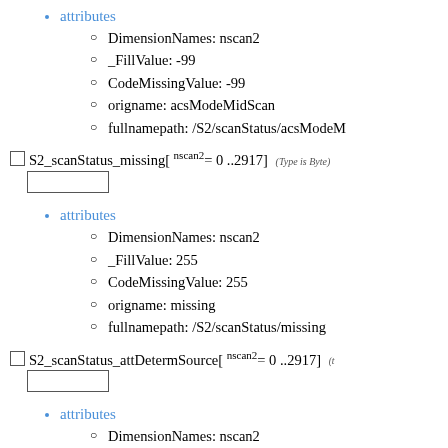attributes
DimensionNames: nscan2
_FillValue: -99
CodeMissingValue: -99
origname: acsModeMidScan
fullnamepath: /S2/scanStatus/acsModeM
S2_scanStatus_missing[ nscan2= 0 ..2917] (Type is Byte)
attributes
DimensionNames: nscan2
_FillValue: 255
CodeMissingValue: 255
origname: missing
fullnamepath: /S2/scanStatus/missing
S2_scanStatus_attDetermSource[ nscan2= 0 ..2917]
attributes
DimensionNames: nscan2
_FillValue: -9999
CodeMissingValue: -9999